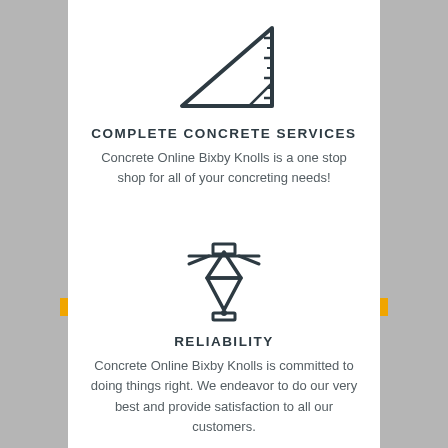[Figure (illustration): Triangle ruler / set square icon in dark teal outline style]
COMPLETE CONCRETE SERVICES
Concrete Online Bixby Knolls is a one stop shop for all of your concreting needs!
[Figure (illustration): Pen tool / drafting compass icon in dark teal outline style]
RELIABILITY
Concrete Online Bixby Knolls is committed to doing things right. We endeavor to do our very best and provide satisfaction to all our customers.